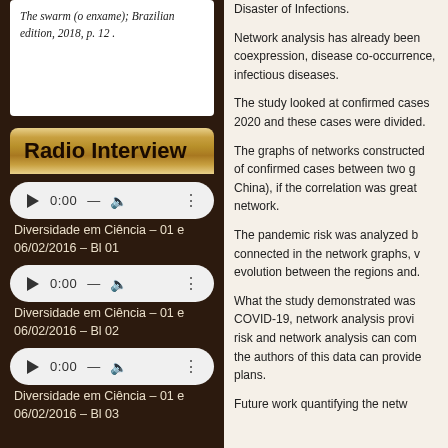The swarm (o enxame); Brazilian edition, 2018, p. 12.
Radio Interview
[Figure (other): Audio player widget showing 0:00 timestamp with play button, dash separator, speaker icon, and three-dot menu]
Diversidade em Ciência – 01 e 06/02/2016 – Bl 01
[Figure (other): Audio player widget showing 0:00 timestamp with play button, dash separator, speaker icon, and three-dot menu]
Diversidade em Ciência – 01 e 06/02/2016 – Bl 02
[Figure (other): Audio player widget showing 0:00 timestamp with play button, dash separator, speaker icon, and three-dot menu]
Diversidade em Ciência – 01 e 06/02/2016 – Bl 03
Disaster of Infections.
Network analysis has already been coexprression, disease co-occurrence, infectious diseases.
The study looked at confirmed cases 2020 and these cases were divided.
The graphs of networks constructed of confirmed cases between two g China), if the correlation was great network.
The pandemic risk was analyzed b connected in the network graphs, v evolution between the regions and.
What the study demonstrated was COVID-19, network analysis provi risk and network analysis can com the authors of this data can provide plans.
Future work quantifying the netw